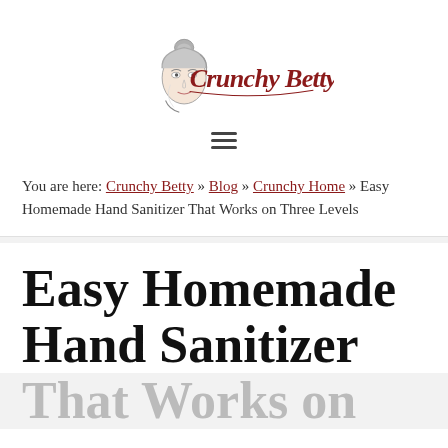[Figure (logo): Crunchy Betty logo with illustrated woman face and script text]
You are here: Crunchy Betty » Blog » Crunchy Home » Easy Homemade Hand Sanitizer That Works on Three Levels
Easy Homemade Hand Sanitizer That Works on